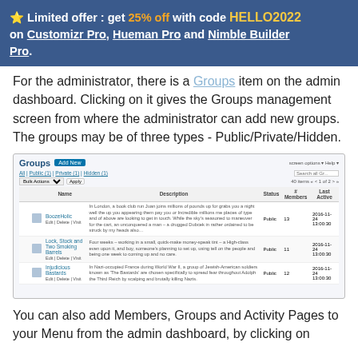⭐ Limited offer : get 25% off with code HELLO2022 on Customizr Pro, Hueman Pro and Nimble Builder Pro.
For the administrator, there is a Groups item on the admin dashboard. Clicking on it gives the Groups management screen from where the administrator can add new groups. The groups may be of three types - Public/Private/Hidden.
[Figure (screenshot): Screenshot of WordPress admin Groups management screen showing a table with columns Name, Description, Status, # Members, Last Active, with three sample groups listed: BoozeHolic (Public, 13 members), Lock, Stock and Two Smoking Barrels (Public, 11 members), Injudicious Bastards (Public, 12 members).]
You can also add Members, Groups and Activity Pages to your Menu from the admin dashboard, by clicking on